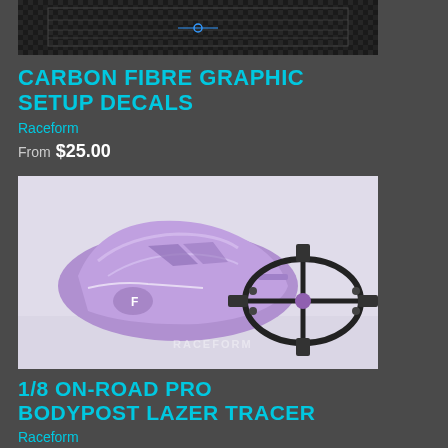[Figure (photo): Top portion of a carbon fibre graphic setup decals product image, showing black carbon fibre pattern with ruler/measurement markings]
CARBON FIBRE GRAPHIC SETUP DECALS
Raceform
From $25.00
[Figure (photo): Purple/violet 1/8 scale RC car body (Lazer Tracer) displayed alongside a black carbon fibre bodypost/chassis frame piece with metal hardware]
1/8 ON-ROAD PRO BODYPOST LAZER TRACER
Raceform
$59.90